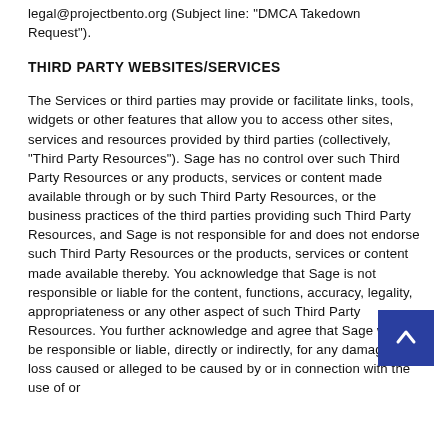legal@projectbento.org (Subject line: "DMCA Takedown Request").
THIRD PARTY WEBSITES/SERVICES
The Services or third parties may provide or facilitate links, tools, widgets or other features that allow you to access other sites, services and resources provided by third parties (collectively, "Third Party Resources"). Sage has no control over such Third Party Resources or any products, services or content made available through or by such Third Party Resources, or the business practices of the third parties providing such Third Party Resources, and Sage is not responsible for and does not endorse such Third Party Resources or the products, services or content made available thereby. You acknowledge that Sage is not responsible or liable for the content, functions, accuracy, legality, appropriateness or any other aspect of such Third Party Resources. You further acknowledge and agree that Sage will not be responsible or liable, directly or indirectly, for any damage or loss caused or alleged to be caused by or in connection with the use of or